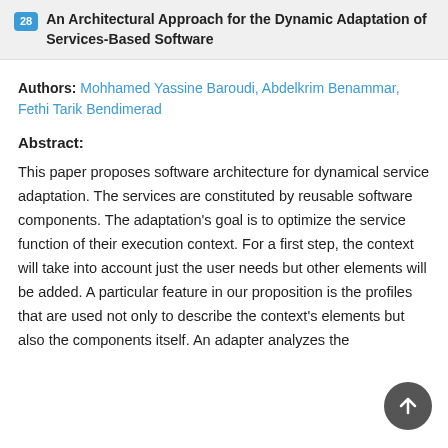28 An Architectural Approach for the Dynamic Adaptation of Services-Based Software
Authors: Mohhamed Yassine Baroudi, Abdelkrim Benammar, Fethi Tarik Bendimerad
Abstract:
This paper proposes software architecture for dynamical service adaptation. The services are constituted by reusable software components. The adaptation's goal is to optimize the service function of their execution context. For a first step, the context will take into account just the user needs but other elements will be added. A particular feature in our proposition is the profiles that are used not only to describe the context's elements but also the components itself. An adapter analyzes the